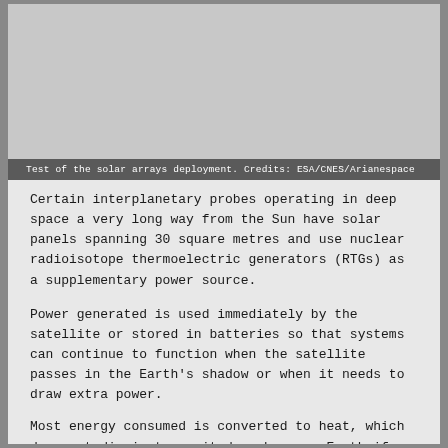[Figure (photo): Image area showing test of solar arrays deployment, appears as a light gray rectangle placeholder]
Test of the solar arrays deployment. Credits: ESA/CNES/Arianespace
Certain interplanetary probes operating in deep space a very long way from the Sun have solar panels spanning 30 square metres and use nuclear radioisotope thermoelectric generators (RTGs) as a supplementary power source.
Power generated is used immediately by the satellite or stored in batteries so that systems can continue to function when the satellite passes in the Earth's shadow or when it needs to draw extra power.
Most energy consumed is converted to heat, which does not dissipate as it does here on Earth if released to atmosphere...